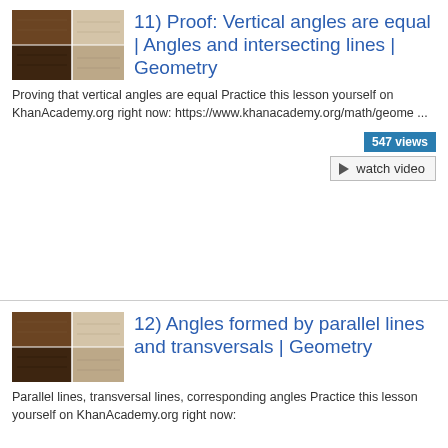[Figure (screenshot): Thumbnail image for Khan Academy video 11 - showing two stacked video preview images]
11) Proof: Vertical angles are equal | Angles and intersecting lines | Geometry
Proving that vertical angles are equal Practice this lesson yourself on KhanAcademy.org right now: https://www.khanacademy.org/math/geome ...
547 views
watch video
[Figure (screenshot): Thumbnail image for Khan Academy video 12 - showing two stacked video preview images]
12) Angles formed by parallel lines and transversals | Geometry
Parallel lines, transversal lines, corresponding angles Practice this lesson yourself on KhanAcademy.org right now: